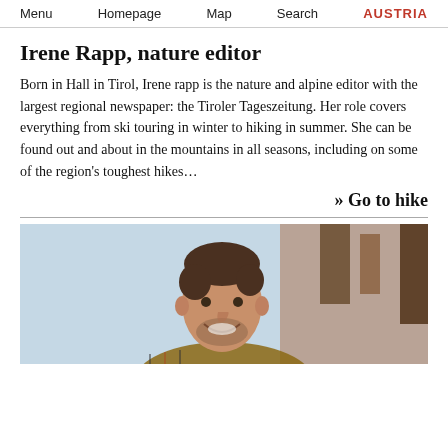Menu  Homepage  Map  Search  AUSTRIA
Irene Rapp, nature editor
Born in Hall in Tirol, Irene rapp is the nature and alpine editor with the largest regional newspaper: the Tiroler Tageszeitung. Her role covers everything from ski touring in winter to hiking in summer. She can be found out and about in the mountains in all seasons, including on some of the region's toughest hikes…
» Go to hike
[Figure (photo): Smiling man with beard wearing a plaid shirt, photographed from the chest up against a light background with some warm-toned elements behind him.]